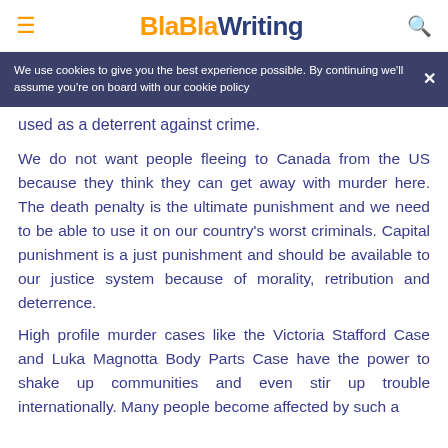BlaBlaWriting
We use cookies to give you the best experience possible. By continuing we'll assume you're on board with our cookie policy
used as a deterrent against crime.
We do not want people fleeing to Canada from the US because they think they can get away with murder here. The death penalty is the ultimate punishment and we need to be able to use it on our country's worst criminals. Capital punishment is a just punishment and should be available to our justice system because of morality, retribution and deterrence.
High profile murder cases like the Victoria Stafford Case and Luka Magnotta Body Parts Case have the power to shake up communities and even stir up trouble internationally. Many people become affected by such a